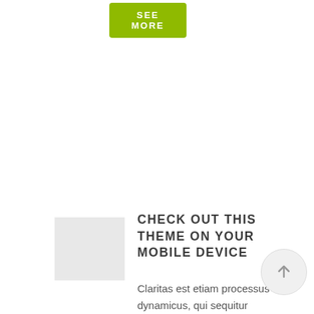[Figure (other): Green 'SEE MORE' button at top of page]
[Figure (other): Small light gray thumbnail/image placeholder box]
CHECK OUT THIS THEME ON YOUR MOBILE DEVICE
Claritas est etiam processus dynamicus, qui sequitur mutationem consuetudium lectorum. Mirum est notare quam littera gothica, quam nunc putamus parum claram, anteposuerit litterarum formas
[Figure (other): Circular scroll-to-top arrow button]